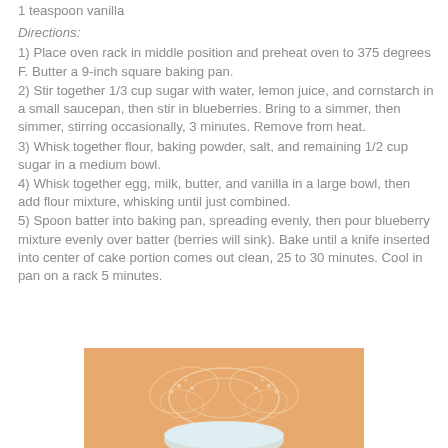1 teaspoon vanilla
Directions:
1) Place oven rack in middle position and preheat oven to 375 degrees F. Butter a 9-inch square baking pan.
2) Stir together 1/3 cup sugar with water, lemon juice, and cornstarch in a small saucepan, then stir in blueberries. Bring to a simmer, then simmer, stirring occasionally, 3 minutes. Remove from heat.
3) Whisk together flour, baking powder, salt, and remaining 1/2 cup sugar in a medium bowl.
4) Whisk together egg, milk, butter, and vanilla in a large bowl, then add flour mixture, whisking until just combined.
5) Spoon batter into baking pan, spreading evenly, then pour blueberry mixture evenly over batter (berries will sink). Bake until a knife inserted into center of cake portion comes out clean, 25 to 30 minutes. Cool in pan on a rack 5 minutes.
[Figure (photo): Orange/peach colored decorative image with butterfly lace pattern design, partially shown at bottom of page]